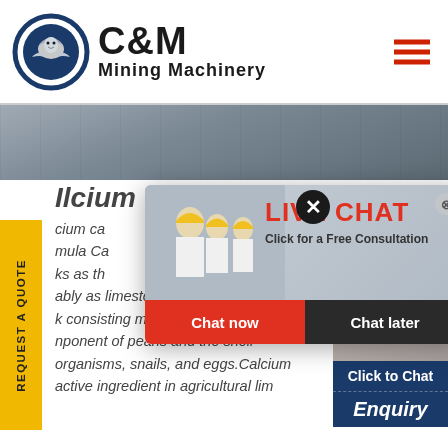[Figure (logo): C&M Mining Machinery logo with eagle in gear circle, dark blue]
C&M Mining Machinery
[Figure (photo): Banner photo of industrial building exterior with workers]
[Figure (other): REQUEST A QUOTE vertical yellow sidebar tab]
Calcium
cium ca
mula Ca
ks as th
ably as limestone, which is a typ
k consisting mainly of calcite) c
nponent of pearls and the shell
organisms, snails, and eggs.Calcium
active ingredient in agricultural lim
[Figure (screenshot): Live Chat popup with workers in hard hats, LIVE CHAT header in red, Click for a Free Consultation, Chat now and Chat later buttons]
[Figure (photo): Right panel: Hours Online header in blue, woman with headset customer service photo, Click to Chat button, Enquiry text]
[Figure (other): Large black X close button circle in top right of popup area]